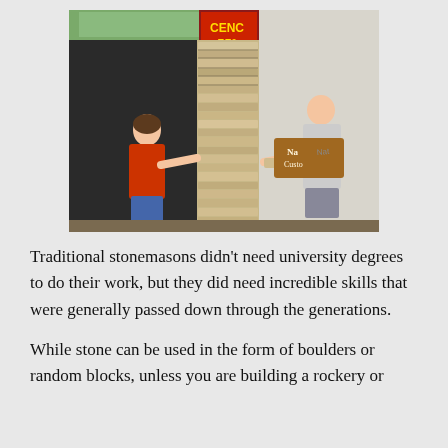[Figure (photo): Two people working with stacked stone on a column. A woman in a red shirt on the left touches the stone stack, while a man in a grey shirt on the right applies a stone piece. A wooden sign reading 'Nat Custo' (partially visible) is mounted on the wall.]
Traditional stonemasons didn't need university degrees to do their work, but they did need incredible skills that were generally passed down through the generations.
While stone can be used in the form of boulders or random blocks, unless you are building a rockery or